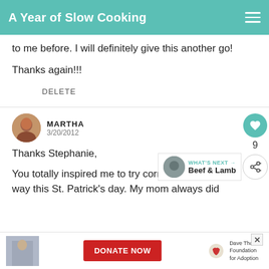A Year of Slow Cooking
to me before. I will definitely give this another go!

Thanks again!!!
DELETE
MARTHA
3/20/2012
Thanks Stephanie,

You totally inspired me to try corned bee a new way this St. Patrick's day. My mom always did
WHAT'S NEXT → Beef & Lamb
[Figure (other): Advertisement banner: Dave Thomas Foundation for Adoption DONATE NOW button with person photo and organization logo]